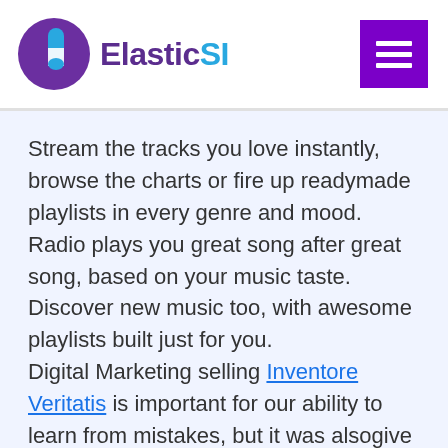[Figure (logo): ElasticSI logo with purple circle icon containing a blue cylinder shape and text 'ElasticSI' where 'Elastic' is in purple and 'SI' is in blue, plus a purple hamburger menu button in the top right corner]
Stream the tracks you love instantly, browse the charts or fire up readymade playlists in every genre and mood. Radio plays you great song after great song, based on your music taste. Discover new music too, with awesome playlists built just for you.
Digital Marketing selling Inventore Veritatis is important for our ability to learn from mistakes, but it was alsogive rise to self-criticism, because it is part of the threat-protection system in the